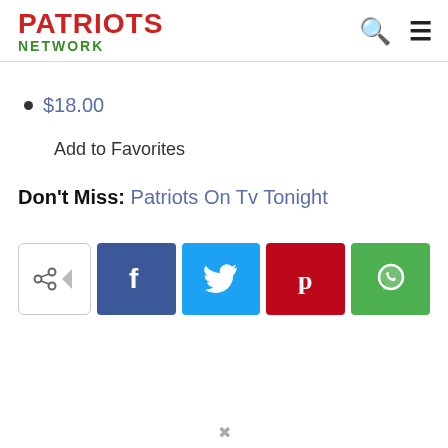PATRIOTS NETWORK
$18.00
Add to Favorites
Don't Miss:  Patriots On Tv Tonight
[Figure (other): Social share bar with share button (arrow icon), Facebook (f), Twitter (bird), Pinterest (p), WhatsApp (phone) buttons]